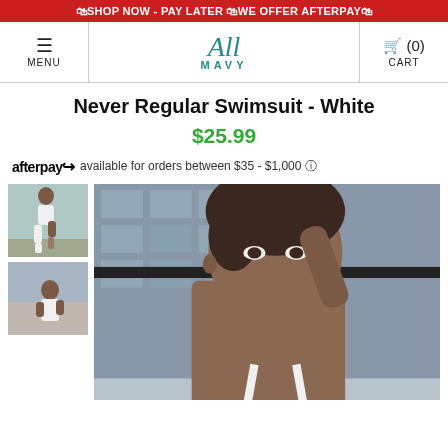🛍SHOP NOW - PAY LATER 🛍WE OFFER AFTERPAY🛍
[Figure (screenshot): Navigation bar with hamburger menu, All Mavy logo, and cart icon showing (0) CART]
Never Regular Swimsuit - White
$25.99
afterpay available for orders between $35 - $1,000 ⓘ
[Figure (photo): Two thumbnail images and one main product photo of a model wearing a white swimsuit on a rooftop with a glass building in background]